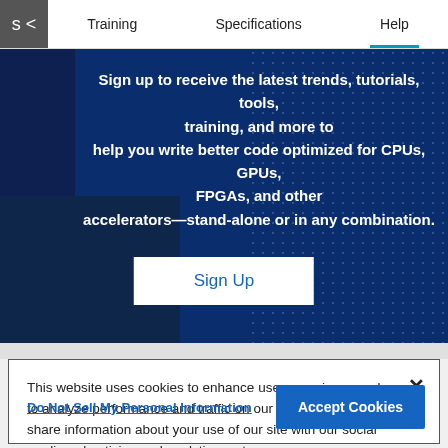Training   Specifications   Help
Sign up to receive the latest trends, tutorials, tools, training, and more to help you write better code optimized for CPUs, GPUs, FPGAs, and other accelerators—stand-alone or in any combination.
Sign Up
This website uses cookies to enhance user experience and to analyze performance and traffic on our website. We also share information about your use of our site with our social media, advertising and analytics partners.
Do Not Sell My Personal Information
Accept Cookies